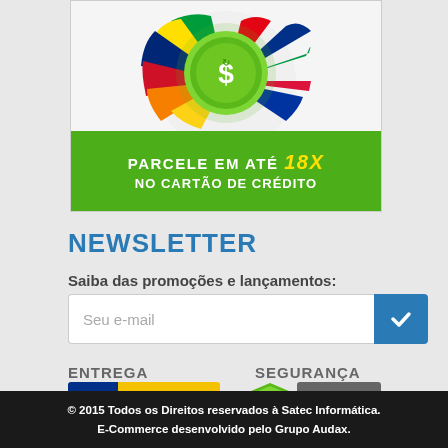[Figure (illustration): Promotional banner: colorful flags and a green dollar sign coin at top, green background at bottom with text 'PARCELE EM ATÉ 18X NO CARTÃO DE CRÉDITO']
NEWSLETTER
Saiba das promoções e lançamentos:
[Figure (illustration): Email input field with placeholder 'Seu e-mail' and a blue submit button with checkmark]
ENTREGA
[Figure (logo): Correios logo: blue background with arrows and yellow text box with CORREIOS]
SEGURANÇA
[Figure (logo): Compra Segura badge: green shield with checkmark and dark text box with COMPRA SEGURA]
© 2015 Todos os Direitos reservados à Satec Informática. E-Commerce desenvolvido pelo Grupo Audax.